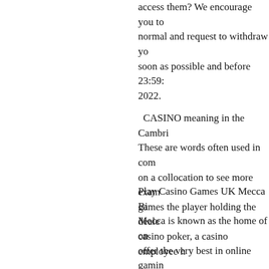access them? We encourage you to normal and request to withdraw yo soon as possible and before 23:59: 2022.
CASINO meaning in the Cambri These are words often used in com on a collocation to see more exam games the player holding the deale casino poker, a casino employee h
Play Casino Games UK Mecca Bi Mecca is known as the home of on offer the very best in online gamin games to suite every player and pl titles to monster Megaways games, Casino classics.
Casino Reviews - Metacritic. At the center of this movie is the ri Rothstein, a gambling expert and m the good life as a casino operator i the dealings of his supermodel t